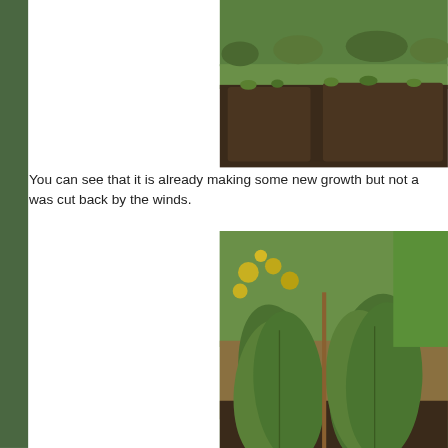[Figure (photo): Garden bed with dark soil, showing mulched raised beds with some small green shoots emerging, green grass and shrubs in background.]
You can see that it is already making some new growth but not as much as the other one as it was cut back by the winds.
[Figure (photo): Garden bed showing large leafy cardoon plants with broad green leaves growing from brown mulched soil, with colorful flowers and green lawn in background.]
I always find it incredible that each year the cardoons grow from no
Before we headed home we also cleared away the hazel, sweet situated between the two cardoons.
Surprisingly,despite the miserable weather, the spinach seeds th greenhouse have started to germinate. Can you see them?
[Figure (photo): Close-up of dark soil with small germinating spinach seeds visible as tiny pale sprouts.]